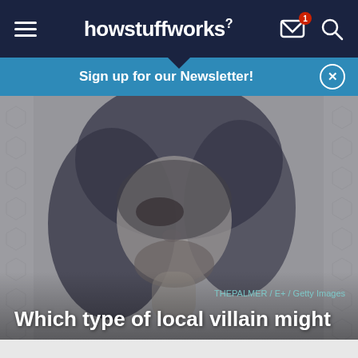howstuffworks
Sign up for our Newsletter!
[Figure (photo): Black and white photo of a man wearing a dark hood, looking upward dramatically, resembling a villain character. Photo credit: THEPALMER / E+ / Getty Images]
THEPALMER / E+ / Getty Images
Which type of local villain might